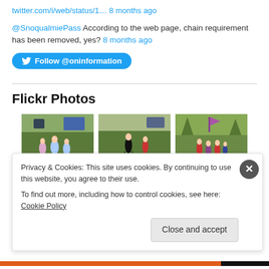twitter.com/i/web/status/1… 8 months ago
@SnoqualmiePass According to the web page, chain requirement has been removed, yes? 8 months ago
Follow @oninformation
Flickr Photos
[Figure (photo): Three photos of cross-country runners racing on a grass course]
Privacy & Cookies: This site uses cookies. By continuing to use this website, you agree to their use. To find out more, including how to control cookies, see here: Cookie Policy
Close and accept